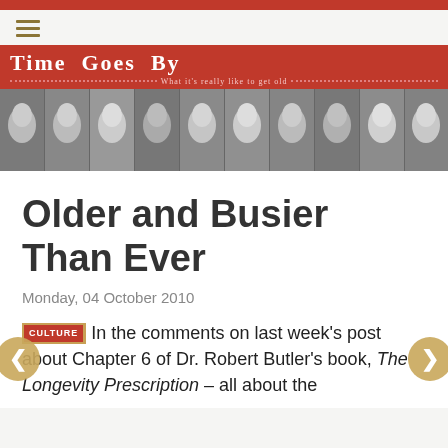Time Goes By – What it's really like to get old
[Figure (photo): Black and white photo strip showing multiple portraits of a woman at different ages, from young child to elderly adult, arranged side by side horizontally.]
Older and Busier Than Ever
Monday, 04 October 2010
CULTURE In the comments on last week's post about Chapter 6 of Dr. Robert Butler's book, The Longevity Prescription – all about the